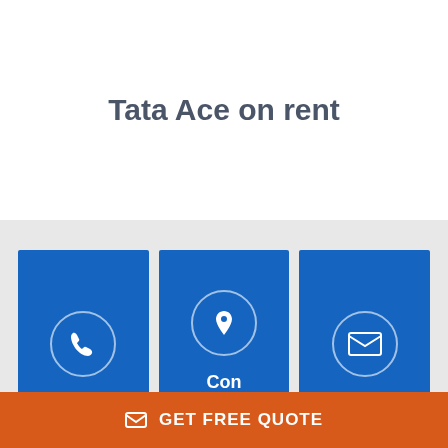Tata Ace on rent
[Figure (infographic): Three blue contact cards with icons: Phone (phone icon), Contact Address (location pin icon), Mail (envelope icon). Below is an orange CTA bar with envelope icon and text GET FREE QUOTE.]